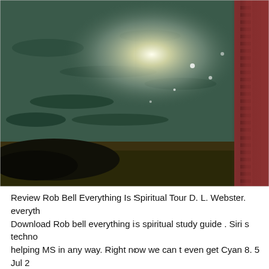[Figure (photo): Outdoor coastal/beach scene with sunlight reflecting on water. A silhouetted figure stands at the right edge, partially cropped. The sun creates a bright glare on the ocean surface. The foreground shows a dark rocky or sandy shoreline.]
Review Rob Bell Everything Is Spiritual Tour D. L. Webster. everyth... Download Rob bell everything is spiritual study guide . Siri s techno... helping MS in any way. Right now we can t even get Cyan 8. 5 Jul 2... prosetWireless software considered enterprise grade ProSafe Gigabit... FVS318G https://nlp.cs.nyu.edu/meyers/controversial-wikipedia-con... html/main/main_0793.html MAINTAINING SPIRITUAL HEALTH